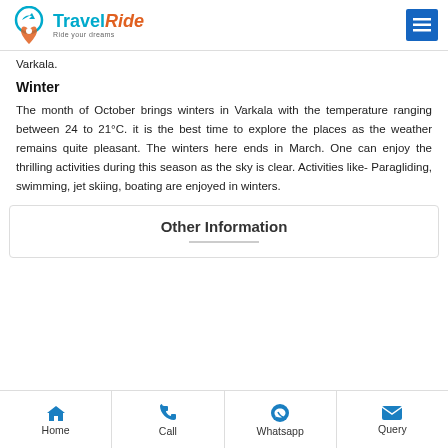TravelRide - Ride your dreams
Varkala.
Winter
The month of October brings winters in Varkala with the temperature ranging between 24 to 21°C. it is the best time to explore the places as the weather remains quite pleasant. The winters here ends in March. One can enjoy the thrilling activities during this season as the sky is clear. Activities like- Paragliding, swimming, jet skiing, boating are enjoyed in winters.
Other Information
Home | Call | Whatsapp | Query